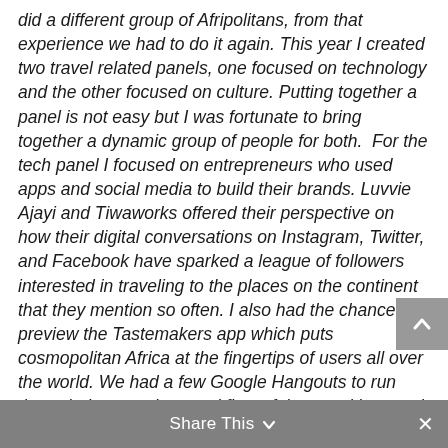did a different group of Afripolitans, from that experience we had to do it again. This year I created two travel related panels, one focused on technology and the other focused on culture. Putting together a panel is not easy but I was fortunate to bring together a dynamic group of people for both.  For the tech panel I focused on entrepreneurs who used apps and social media to build their brands. Luvvie Ajayi and Tiwaworks offered their perspective on how their digital conversations on Instagram, Twitter, and Facebook have sparked a league of followers interested in traveling to the places on the continent that they mention so often. I also had the chance to preview the Tastemakers app which puts cosmopolitan Africa at the fingertips of users all over the world. We had a few Google Hangouts to run through the questions and flow of the panel but much of the content really focused on us being able to read the
Share This